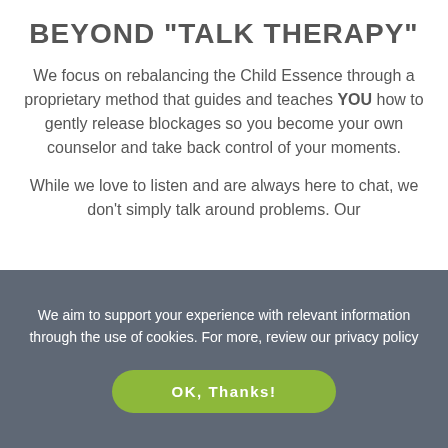BEYOND "TALK THERAPY"
We focus on rebalancing the Child Essence through a proprietary method that guides and teaches YOU how to gently release blockages so you become your own counselor and take back control of your moments.
While we love to listen and are always here to chat, we don't simply talk around problems. Our
We aim to support your experience with relevant information through the use of cookies. For more, review our privacy policy
OK, Thanks!